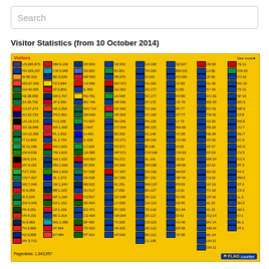Search
Visitor Statistics (from 10 October 2014)
[Figure (infographic): Flag Counter widget showing visitor statistics by country from 10 October 2014. Yellow background table with country flags, codes and visitor counts. Top countries: US 285,875, PH 183,237, IN 95,316, MG 67,502, GH 42,005, KE 38,098, ZA 35,756, CA 27,274, AU 22,732, UG 19,573, SG 16,896, GH 12,082, IT 11,802, IE 11,096, ZM 9,506, DE 9,154, MY 9,151, TZ 7,234, CM 7,057, MD 7,040, ID 6,059, IK 5,249, ZW 4,349, PK 4,251, VN 4,151, IH 3,963, TH 3,869, NZ 3,858, MV 3,712. Pageviews: 1,843,957]